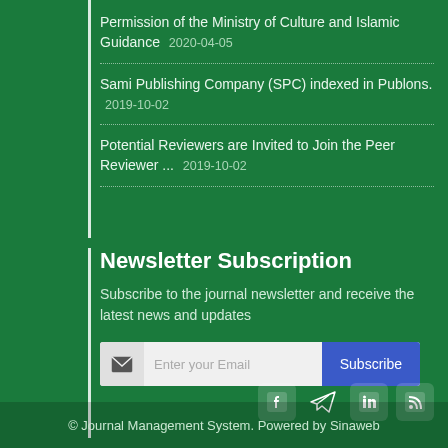Permission of the Ministry of Culture and Islamic Guidance 2020-04-05
Sami Publishing Company (SPC) indexed in Publons. 2019-10-02
Potential Reviewers are Invited to Join the Peer Reviewer ... 2019-10-02
Newsletter Subscription
Subscribe to the journal newsletter and receive the latest news and updates
[Figure (other): Email subscription form with envelope icon, text input field, and Subscribe button]
[Figure (other): Social media icons: Facebook, Telegram, LinkedIn, RSS]
© Journal Management System. Powered by Sinaweb